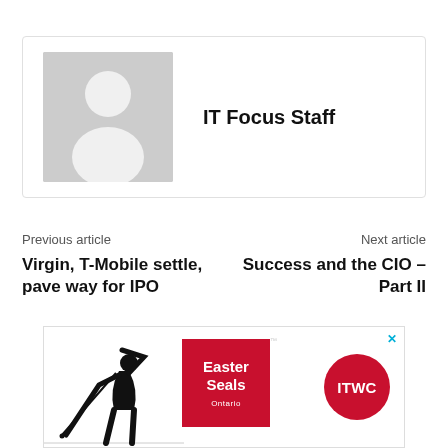[Figure (photo): Author profile card with placeholder avatar silhouette image and name 'IT Focus Staff']
IT Focus Staff
Previous article
Virgin, T-Mobile settle, pave way for IPO
Next article
Success and the CIO – Part II
[Figure (illustration): Advertisement banner showing Easter Seals Ontario charity golf event with golfer silhouette, Easter Seals logo, and ITWC logo. Close button (x) in top right corner.]